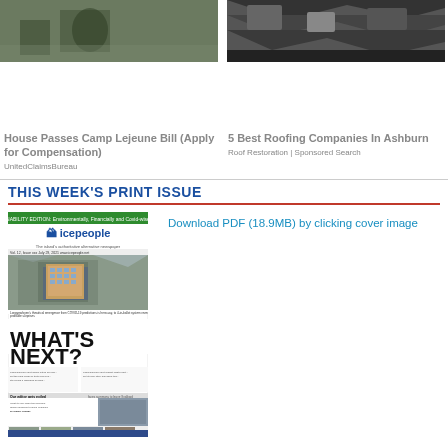[Figure (photo): Photo of soldiers/military personnel on left and broken roof shingles on right, side by side top images]
House Passes Camp Lejeune Bill (Apply for Compensation)
UnitedClaimsBureau
5 Best Roofing Companies In Ashburn
Roof Restoration | Sponsored Search
THIS WEEK'S PRINT ISSUE
[Figure (photo): Thumbnail of icepeople newspaper front page showing 'WHAT'S NEXT?' headline and 'Our editor gets exiled' story]
Download PDF (18.9MB) by clicking cover image